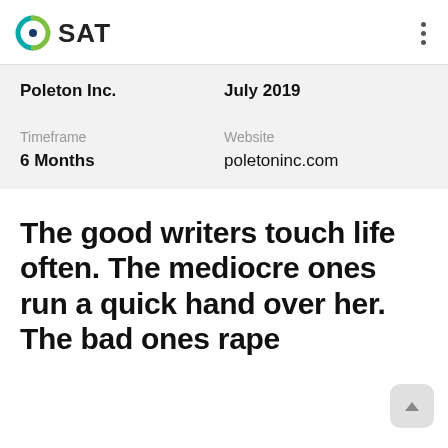SAT
|  |  |
| --- | --- |
| Poleton Inc. | July 2019 |
| Timeframe | Website |
| 6 Months | poletoninc.com |
The good writers touch life often. The mediocre ones run a quick hand over her. The bad ones rape